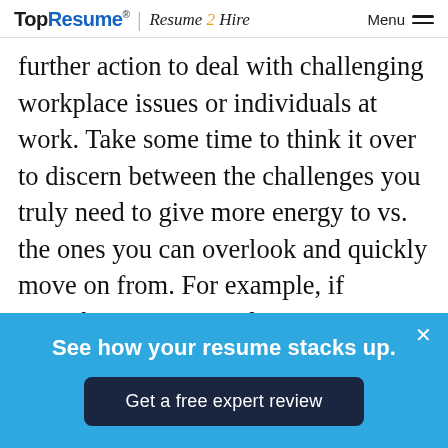TopResume® | Resume 2 Hire   Menu
further action to deal with challenging workplace issues or individuals at work. Take some time to think it over to discern between the challenges you truly need to give more energy to vs. the ones you can overlook and quickly move on from. For example, if something is negatively impacting your work performance, then coming up with a plan of action to deal with the issue is wise. If ethics or discrimination are coming into question, then this
See how your resume stacks up.
Get a free expert review